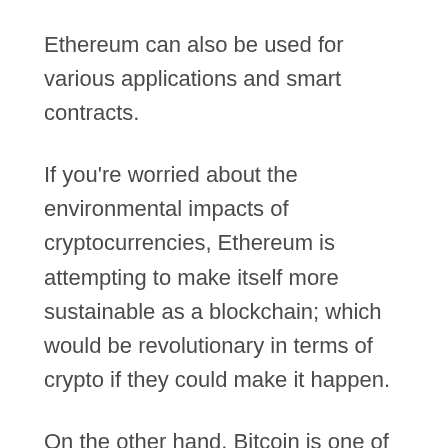Ethereum can also be used for various applications and smart contracts.
If you're worried about the environmental impacts of cryptocurrencies, Ethereum is attempting to make itself more sustainable as a blockchain; which would be revolutionary in terms of crypto if they could make it happen.
On the other hand, Bitcoin is one of the most widely understood and accepted cryptocurrencies, and one that still has wide potential for growth and profit return.